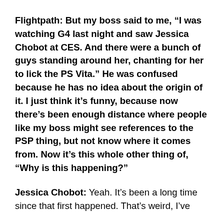Flightpath: But my boss said to me, “I was watching G4 last night and saw Jessica Chobot at CES. And there were a bunch of guys standing around her, chanting for her to lick the PS Vita.” He was confused because he has no idea about the origin of it. I just think it’s funny, because now there’s been enough distance where people like my boss might see references to the PSP thing, but not know where it comes from. Now it’s this whole other thing of, “Why is this happening?”
Jessica Chobot: Yeah. It’s been a long time since that first happened. That’s weird, I’ve